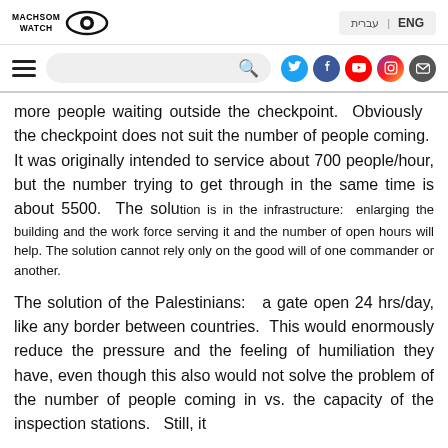MACHSOM WATCH | ENG | עברית
more people waiting outside the checkpoint.  Obviously the checkpoint does not suit the number of people coming.  It was originally intended to service about 700 people/hour, but the number trying to get through in the same time is about 5500.  The solution is in the infrastructure:  enlarging the building and the work force serving it and the number of open hours will help. The solution cannot rely only on the good will of one commander or another.
The solution of the Palestinians:  a gate open 24 hrs/day, like any border between countries.  This would enormously reduce the pressure and the feeling of humiliation they have, even though this also would not solve the problem of the number of people coming in vs. the capacity of the inspection stations.  Still, it